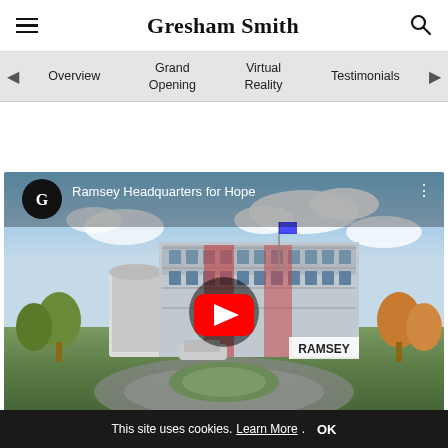Gresham Smith
Overview
Grand Opening
Virtual Reality
Testimonials
[Figure (screenshot): YouTube video thumbnail showing Ramsey Headquarters for Hope building rendering with a Gresham Smith logo circle and YouTube play button overlay. Title reads 'Ramsey Headquarters for Hope'.]
This site uses cookies. Learn More. OK